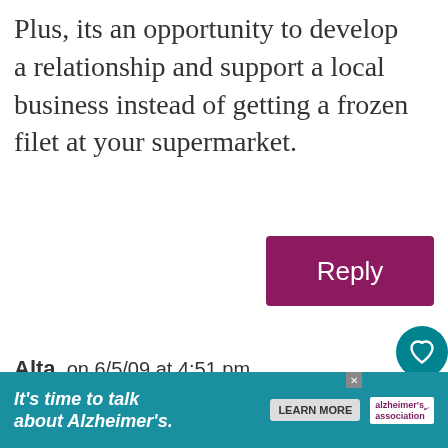Plus, its an opportunity to develop a relationship and support a local business instead of getting a frozen filet at your supermarket.
Reply
Alta on 6/5/09 at 4:51 pm
I have been kinda scared, I admit, to tackle cooking a whole f... However, like you, I do kinda suck at filleting. (I once bought a
[Figure (other): Alzheimer's Association advertisement banner: 'It's time to talk about Alzheimer's.' with LEARN MORE button]
[Figure (other): What's Next promo box showing Peking Chicken wit... with food thumbnail]
[Figure (other): Heart/like icon button (teal circle) with count 81 and share button]